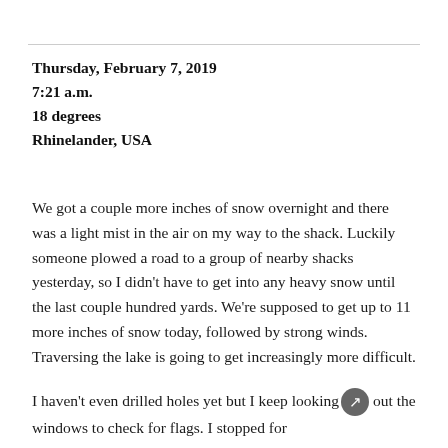Thursday, February 7, 2019
7:21 a.m.
18 degrees
Rhinelander, USA
We got a couple more inches of snow overnight and there was a light mist in the air on my way to the shack. Luckily someone plowed a road to a group of nearby shacks yesterday, so I didn't have to get into any heavy snow until the last couple hundred yards. We're supposed to get up to 11 more inches of snow today, followed by strong winds. Traversing the lake is going to get increasingly more difficult.
I haven't even drilled holes yet but I keep looking out the windows to check for flags. I stopped for